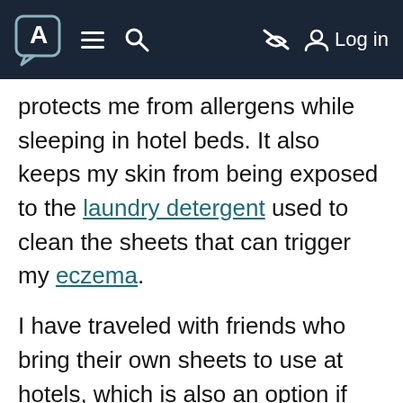[Navigation bar with logo, menu, search, and Log in]
protects me from allergens while sleeping in hotel beds. It also keeps my skin from being exposed to the laundry detergent used to clean the sheets that can trigger my eczema.
I have traveled with friends who bring their own sheets to use at hotels, which is also an option if you have room in your suitcase. I washed my towels and sleep sack at the hotel. I purposely stayed in hotels with laundry facilities so I could wash my dirty travel clothes,